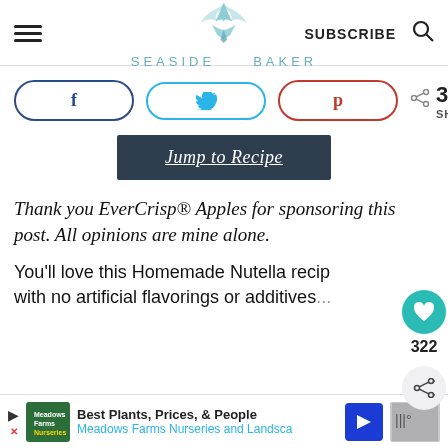SEASIDE BAKER | SUBSCRIBE
[Figure (screenshot): Social share buttons: Facebook (f), Twitter (bird), Pinterest (p), and share count showing 321 SHARES]
[Figure (screenshot): Jump to Recipe button (dark navy background, white italic underlined text)]
Thank you EverCrisp® Apples for sponsoring this post. All opinions are mine alone.
You'll love this Homemade Nutella reci... with no artificial flavorings or additives...
[Figure (screenshot): Side action buttons: heart/save (322) and share icons on right side]
[Figure (screenshot): Advertisement bar at bottom: Meadows Farms Nurseries and Landscape - Best Plants, Prices, & People]